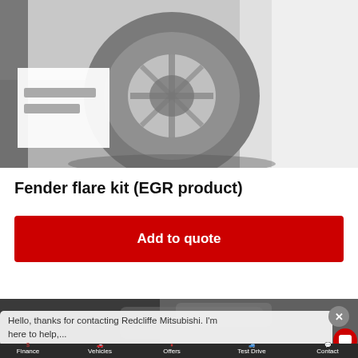[Figure (photo): Blurred grayscale photo of a car wheel/fender area with a white price tag label on the left side and white car body panel on the right]
Fender flare kit (EGR product)
Add to quote
[Figure (screenshot): Bottom portion of automotive dealer website showing second car image partially visible, chat overlay with text 'Hello, thanks for contacting Redcliffe Mitsubishi. I'm here to help,...', a red chat icon button, close X button, and bottom navigation bar with Finance, Vehicles, Offers, Test Drive, Contact items with red icons]
Finance  Vehicles  Offers  Test Drive  Contact